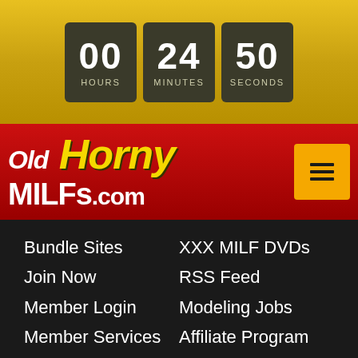[Figure (screenshot): Countdown timer showing 00 HOURS, 24 MINUTES, 50 SECONDS on a gold background]
[Figure (logo): OldHornyMILFs.com logo on red navigation bar with hamburger menu button]
Bundle Sites
XXX MILF DVDs
Join Now
RSS Feed
Member Login
Modeling Jobs
Member Services
Affiliate Program
Terms & Conditions | Privacy Policy
18 U.S.C. 2257 Record-Keeping Requirements Compliance Statement
© Old Horny MILFs All rights reserved. All models depicted on this website are at least 18 years